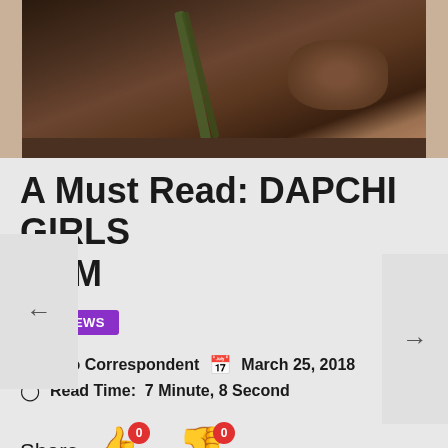[Figure (photo): Close-up photo of a person's face with a dark complexion, wearing a green military-style strap or harness across their face/chin area. Only the lower portion of the face is visible.]
A Must Read: DAPCHI GIRLS CAM
NEWS
Uyo Correspondent   March 25, 2018
Read Time:  7 Minute, 8 Second
Share
0
0